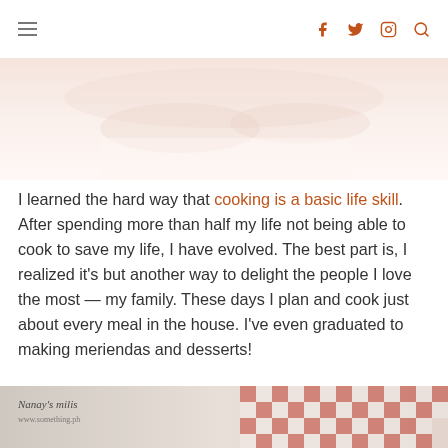Navigation header with hamburger menu and social icons (Facebook, Twitter, Instagram, Search)
[Figure (photo): Faded pinkish-beige hero/banner image at the top of the blog page]
I learned the hard way that cooking is a basic life skill. After spending more than half my life not being able to cook to save my life, I have evolved. The best part is, I realized it's but another way to delight the people I love the most — my family. These days I plan and cook just about every meal in the house. I've even graduated to making meriendas and desserts!
[Figure (photo): Bottom partial image showing what appears to be a food/cooking scene with red checkered cloth]